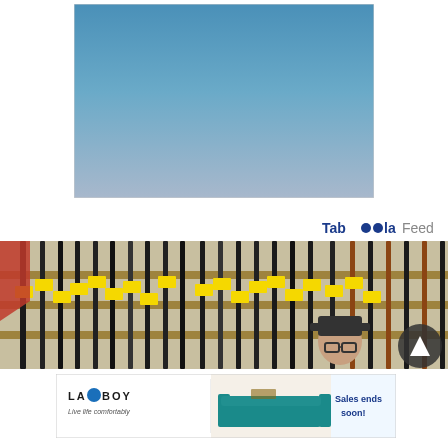[Figure (photo): A large rectangular image showing a gradient sky — bright blue at the top transitioning to a pale grayish-blue/lavender at the bottom. The image appears to be a sky photograph with no other subjects.]
[Figure (logo): Taboola Feed logo/branding text in the upper-right area. 'Tab00la' in bold dark blue with stylized double-o, followed by 'Feed' in lighter gray text.]
[Figure (photo): A wide panoramic photo of a gun store interior showing rifles and long guns displayed on wall racks with yellow price tags. In the lower-center of the image, a man wearing a dark cap and glasses is visible.]
[Figure (photo): La-Z-Boy advertisement banner. Shows the La-Z-Boy logo on the left with tagline 'Live life comfortably', a teal/blue tufted sofa in the center, and 'Sales ends soon!' text on the right in blue on a white background.]